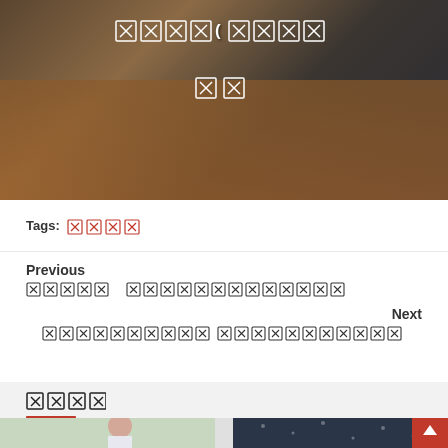[Figure (photo): A photograph of people sitting around a conference/meeting table with papers and documents, overlaid with Chinese text characters rendered as cross/box glyphs in white]
Tags: 相关标签
Previous
相关文章  相关文章标题内容链接
Next
相关文章标题内容 相关文章标题内容
相关文章
[Figure (photo): Two thumbnail photos at the bottom: left shows a woman in a bright setting, right shows a rainy window scene]